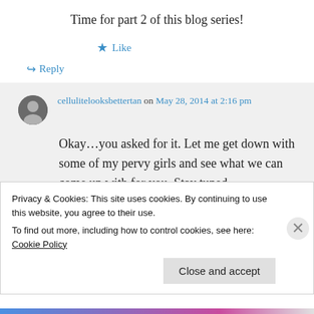Time for part 2 of this blog series!
★ Like
↳ Reply
cellulitelooksbettertan on May 28, 2014 at 2:16 pm
Okay…you asked for it. Let me get down with some of my pervy girls and see what we can come up with for you. Stay tuned,
Privacy & Cookies: This site uses cookies. By continuing to use this website, you agree to their use. To find out more, including how to control cookies, see here: Cookie Policy
Close and accept